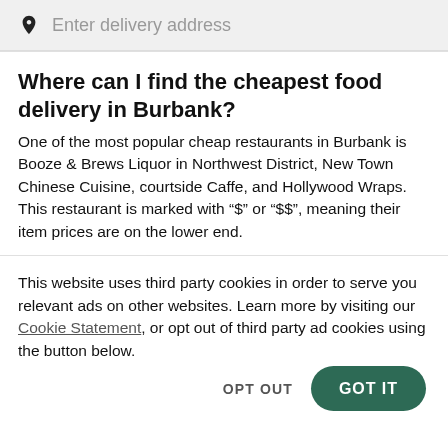Enter delivery address
Where can I find the cheapest food delivery in Burbank?
One of the most popular cheap restaurants in Burbank is Booze & Brews Liquor in Northwest District, New Town Chinese Cuisine, courtside Caffe, and Hollywood Wraps. This restaurant is marked with "“$” or “$$”", meaning their item prices are on the lower end.
This website uses third party cookies in order to serve you relevant ads on other websites. Learn more by visiting our Cookie Statement, or opt out of third party ad cookies using the button below.
OPT OUT
GOT IT